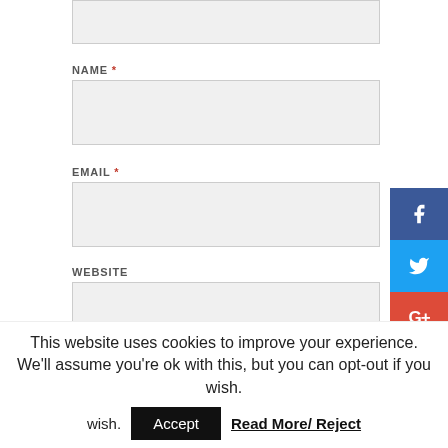NAME *
EMAIL *
WEBSITE
BY USING THIS FORM YOU AGREE WITH THE STORAGE AND HANDLING OF YOUR DATA BY THIS WEBSITE. *
This website uses cookies to improve your experience. We'll assume you're ok with this, but you can opt-out if you wish.
Accept
Read More/ Reject